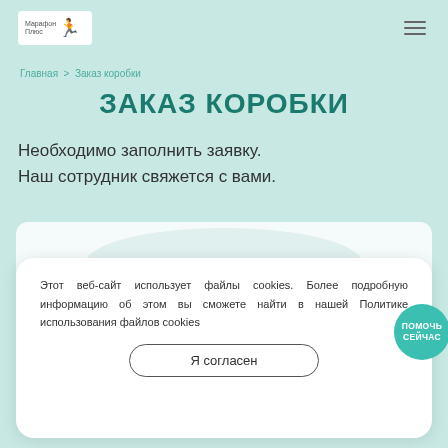[Figure (logo): Website logo with runner icon and brand text]
Главная > Заказ коробки
ЗАКАЗ КОРОБКИ
Необходимо заполнить заявку. Наш сотрудник свяжется с вами.
Этот веб-сайт использует файлы cookies. Более подробную информацию об этом вы сможете найти в нашей Политике использования файлов cookies
Я согласен
ПОМОЧЬ СЕЙЧАС